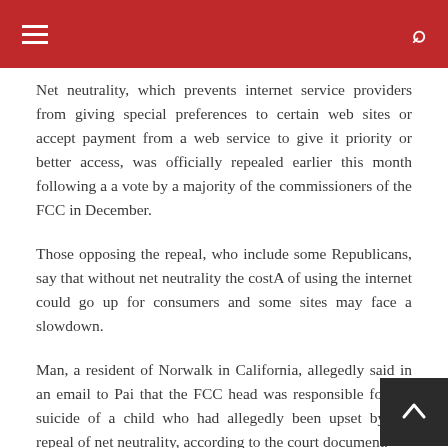Navigation menu and search
Net neutrality, which prevents internet service providers from giving special preferences to certain web sites or accept payment from a web service to give it priority or better access, was officially repealed earlier this month following a a vote by a majority of the commissioners of the FCC in December.
Those opposing the repeal, who include some Republicans, say that without net neutrality the costA of using the internet could go up for consumers and some sites may face a slowdown.
Man, a resident of Norwalk in California, allegedly said in an email to Pai that the FCC head was responsible for the suicide of a child who had allegedly been upset by the repeal of net neutrality, according to the court document.